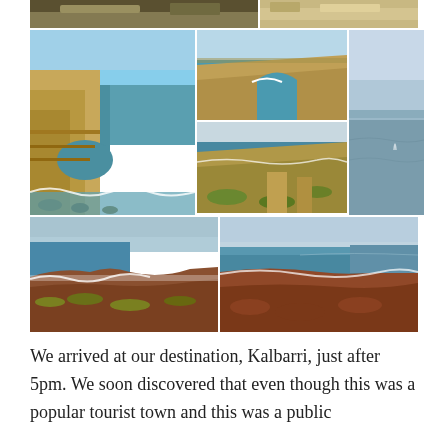[Figure (photo): Collage of coastal cliff photographs from Kalbarri, Western Australia. Top strip shows two partially visible landscape photos of rocky/sandy terrain. Middle row left: tall limestone sea stack/cliff with blue-green ocean. Middle center top: aerial view of rugged coastline with cliffs and turquoise water. Middle center bottom: limestone cliffs and coast seen from above with vegetation. Middle right: wide grey ocean view. Bottom left: reddish rocky coastline with white surf and scrubby vegetation. Bottom right: wide reddish rocky coastal plateau with ocean and sky.]
We arrived at our destination, Kalbarri, just after 5pm. We soon discovered that even though this was a popular tourist town and this was a public